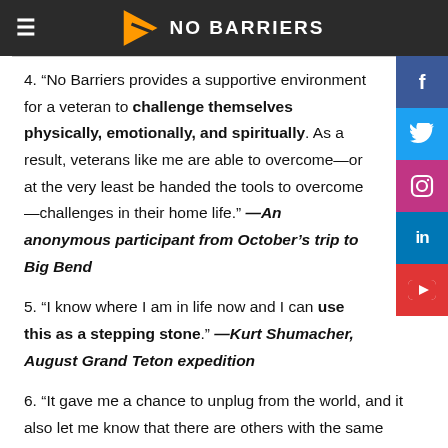NO BARRIERS
4. “No Barriers provides a supportive environment for a veteran to challenge themselves physically, emotionally, and spiritually. As a result, veterans like me are able to overcome—or at the very least be handed the tools to overcome—challenges in their home life.” —An anonymous participant from October’s trip to Big Bend
5. “I know where I am in life now and I can use this as a stepping stone.” —Kurt Shumacher, August Grand Teton expedition
6. “It gave me a chance to unplug from the world, and it also let me know that there are others with the same struggles